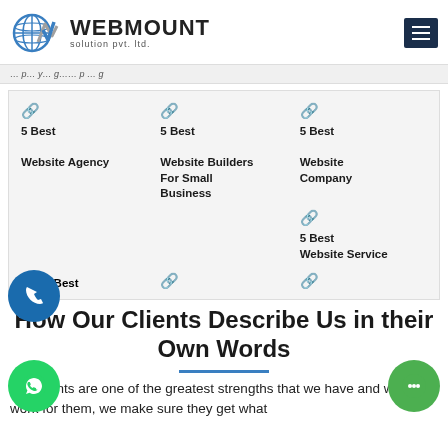WEBMOUNT solution pvt. ltd.
5 Best Website Agency | 5 Best Website Builders For Small Business | 5 Best Website Company | 5 Best Website Service | 5 Best
5 Best Website Agency
5 Best Website Builders For Small Business
5 Best Website Company
5 Best Website Service
5 Best
How Our Clients Describe Us in their Own Words
Our clients are one of the greatest strengths that we have and when we work for them, we make sure they get what